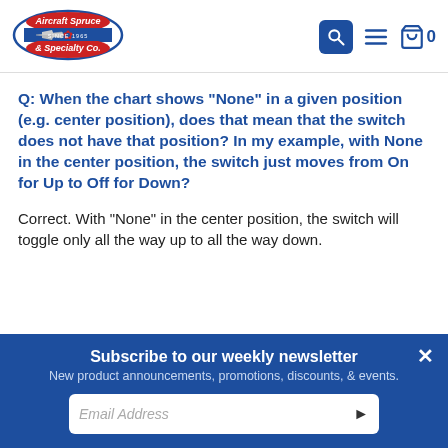[Figure (logo): Aircraft Spruce & Specialty Co. logo with airplane and maple leaf]
Q: When the chart shows "None" in a given position (e.g. center position), does that mean that the switch does not have that position? In my example, with None in the center position, the switch just moves from On for Up to Off for Down?
Correct. With "None" in the center position, the switch will toggle only all the way up to all the way down.
Subscribe to our weekly newsletter
New product announcements, promotions, discounts, & events.
Email Address